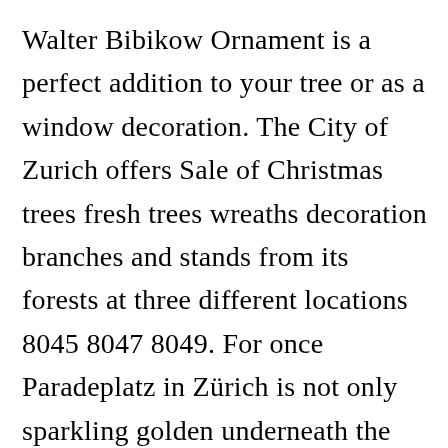Walter Bibikow Ornament is a perfect addition to your tree or as a window decoration. The City of Zurich offers Sale of Christmas trees fresh trees wreaths decoration branches and stands from its forests at three different locations 8045 8047 8049. For once Paradeplatz in Zürich is not only sparkling golden underneath the pavement. The real attraction here is the singing Christmas tree. Zurichsinging-christmas-tree_69423v This small market is situated just a few [blocked]eps from